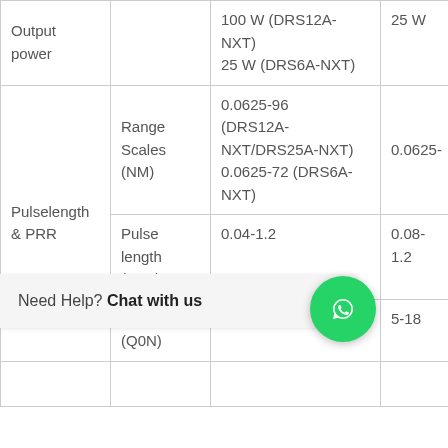|  |  | DRS12A-NXT / DRS6A-NXT | Other |
| --- | --- | --- | --- |
| Output power |  | 100 W (DRS12A-NXT)
25 W (DRS6A-NXT) | 25 W |
|  | Range Scales (NM) | 0.0625-96 (DRS12A-NXT/DRS25A-NXT)
0.0625-72 (DRS6A-NXT) | 0.0625- |
| Pulselength & PRR | Pulse length (PON) | 0.04-1.2 | 0.08-1.2 |
|  | length (Q0N) | 5-48 | 5-18 |